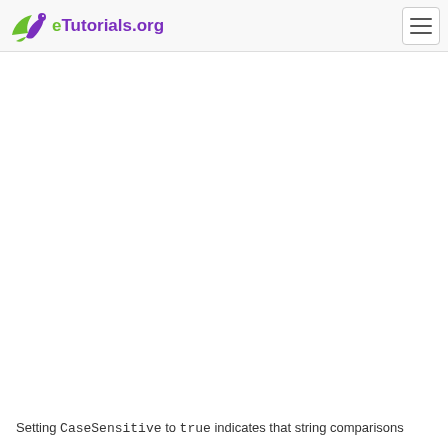eTutorials.org
Setting CaseSensitive to true indicates that string comparisons